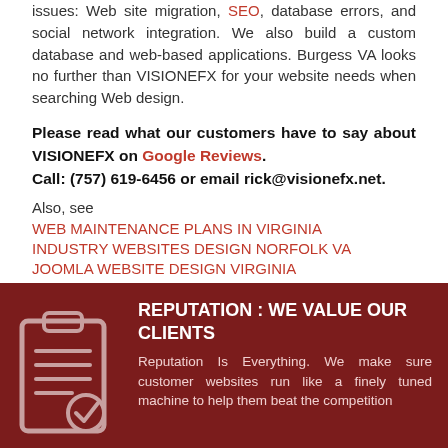issues: Web site migration, SEO, database errors, and social network integration. We also build a custom database and web-based applications. Burgess VA looks no further than VISIONEFX for your website needs when searching Web design.
Please read what our customers have to say about VISIONEFX on Google Reviews.
Call: (757) 619-6456 or email rick@visionefx.net.
Also, see
WEB MAINTENANCE PLANS IN VIRGINIA
INDUSTRY WEBSITES DESIGN NORFOLK VA
JOOMLA WEBSITE DESIGN VIRGINIA
WEB DESIGN MELFA VA
[Figure (illustration): Dark red arrow chevron pointing upward, divider between white and dark red sections]
[Figure (illustration): Clipboard icon with lines and checkmark, white outline on dark red background]
REPUTATION : WE VALUE OUR CLIENTS
Reputation Is Everything. We make sure customer websites run like a finely tuned machine to help them beat the competition